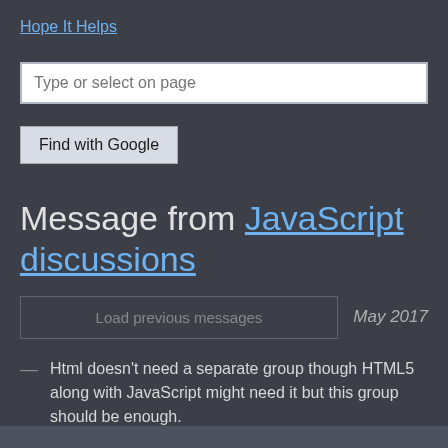Hope It Helps
Type or select on page
Find with Google
Message from JavaScript discussions
Load previous messages
May 2017
Html doesn't need a separate group though HTML5 along with JavaScript might need it but this group should be enough.
Message permanent page